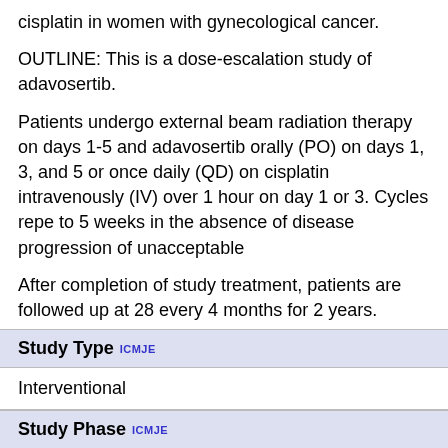cisplatin in women with gynecological cancer.
OUTLINE: This is a dose-escalation study of adavosertib.
Patients undergo external beam radiation therapy on days 1-5 and receive adavosertib orally (PO) on days 1, 3, and 5 or once daily (QD) on and cisplatin intravenously (IV) over 1 hour on day 1 or 3. Cycles repeat up to 5 weeks in the absence of disease progression of unacceptable
After completion of study treatment, patients are followed up at 28 days, then every 4 months for 2 years.
| Study Type ICMJE |  |
| --- | --- |
| Interventional |  |
| Study Phase ICMJE |  |
| Phase 1 |  |
| Study Design ICMJE |  |
| Allocation: N/A |  |